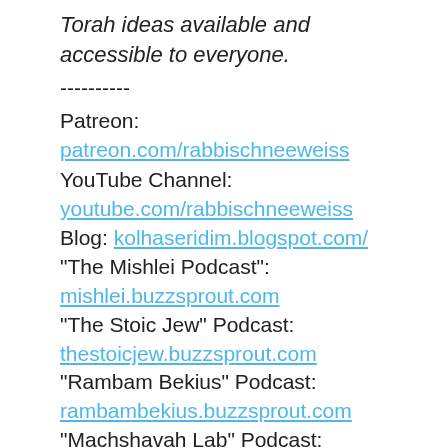Torah ideas available and accessible to everyone.
----------
Patreon: patreon.com/rabbischneeweiss
YouTube Channel: youtube.com/rabbischneeweiss
Blog: kolhaseridim.blogspot.com/
"The Mishlei Podcast": mishlei.buzzsprout.com
"The Stoic Jew" Podcast: thestoicjew.buzzsprout.com
"Rambam Bekius" Podcast: rambambekius.buzzsprout.com
"Machshavah Lab" Podcast: machshavahlab.buzzsprout.com
"The Tefilah Podcast": tefilah.buzzsprout.com
Guide to the Torah Content of Rabbi Matt Schneeweiss: